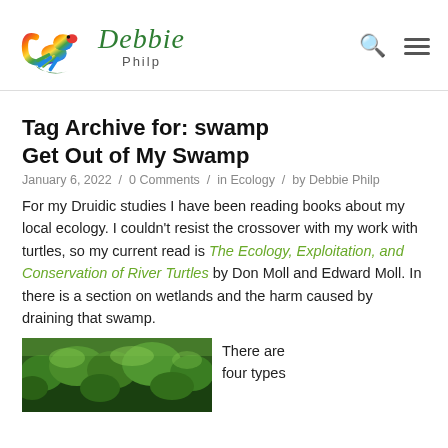Debbie Philp — logo and navigation header
Tag Archive for: swamp
Get Out of My Swamp
January 6, 2022 / 0 Comments / in Ecology / by Debbie Philp
For my Druidic studies I have been reading books about my local ecology. I couldn't resist the crossover with my work with turtles, so my current read is The Ecology, Exploitation, and Conservation of River Turtles by Don Moll and Edward Moll. In there is a section on wetlands and the harm caused by draining that swamp.
[Figure (photo): Aerial or close-up photograph of a green swamp/wetland with dense vegetation]
There are four types